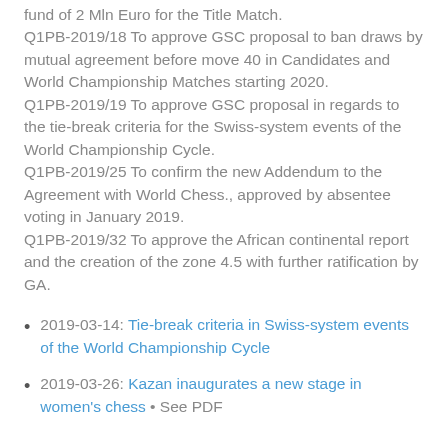fund of 2 Mln Euro for the Title Match. Q1PB-2019/18 To approve GSC proposal to ban draws by mutual agreement before move 40 in Candidates and World Championship Matches starting 2020. Q1PB-2019/19 To approve GSC proposal in regards to the tie-break criteria for the Swiss-system events of the World Championship Cycle. Q1PB-2019/25 To confirm the new Addendum to the Agreement with World Chess., approved by absentee voting in January 2019. Q1PB-2019/32 To approve the African continental report and the creation of the zone 4.5 with further ratification by GA.
2019-03-14: Tie-break criteria in Swiss-system events of the World Championship Cycle
2019-03-26: Kazan inaugurates a new stage in women's chess • See PDF